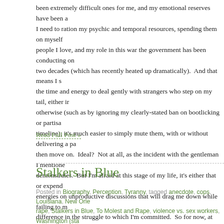been extremely difficult ones for me, and my emotional reserves have been a I need to ration my psychic and temporal resources, spending them on myself people I love, and my role in this war the government has been conducting on two decades (which has recently heated up dramatically). And that means I s the time and energy to deal gently with strangers who step on my tail, either in otherwise (such as by ignoring my clearly-stated ban on bootlicking or partisa timeline); it's much easier to simply mute them, with or without delivering a pa then move on. Ideal? Not at all, as the incident with the gentleman I mentione demonstrates. But I'm afraid at this stage of my life, it's either that or expend energies on unproductive discussions that will drag me down while failing to m difference in the struggle to which I'm committed. So for now, at least, my tem going to more closely resemble that of a wronged wolverine than a playful pus for those who deliberately or carelessly stroke my fur the wrong way.
Read Full Post »
Stalkers in Blue
Posted in Biography, Perception, Tyranny, tagged anecdote, cops, Louisiana, New Orle rape, Stalkers in Blue, To Molest and Rape, violence vs. sex workers, Washington (sta 2017| 3 Comments »